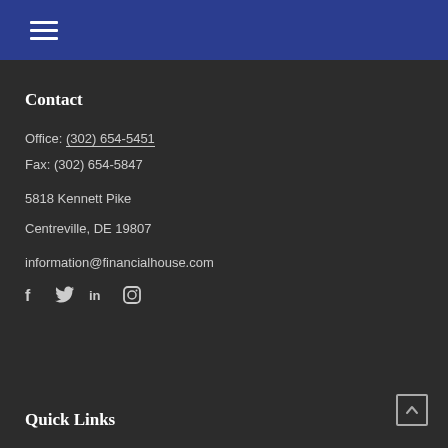Navigation menu (hamburger icon)
Contact
Office: (302) 654-5451
Fax: (302) 654-5847
5818 Kennett Pike
Centreville, DE 19807
information@financialhouse.com
[Figure (illustration): Social media icons: Facebook, Twitter, LinkedIn, Instagram]
Quick Links